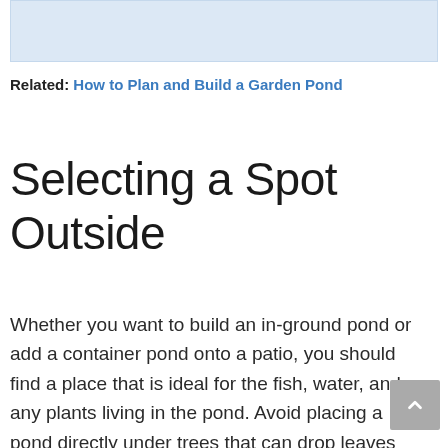[Figure (photo): Placeholder image area at top of page, light blue-grey rectangle]
Related: How to Plan and Build a Garden Pond
Selecting a Spot Outside
Whether you want to build an in-ground pond or add a container pond onto a patio, you should find a place that is ideal for the fish, water, and any plants living in the pond. Avoid placing a pond directly under trees that can drop leaves into the water. This will lead to extra nitrates in the water as the leaves fall to the bottom and rot. This can throw off the water parameters